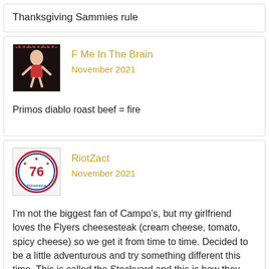Thanksgiving Sammies rule
F Me In The Brain
November 2021
Primos diablo roast beef = fire
RiotZact
November 2021
I'm not the biggest fan of Campo's, but my girlfriend loves the Flyers cheesesteak (cream cheese, tomato, spicy cheese) so we get it from time to time. Decided to be a little adventurous and try something different this time. This is called the Stockyard and this is how they describe it:
If you want a truly unique experience, this cheesesteak comes with chicken, and is cooked in all the oily goodness of pepperoni, bacon, and fried onions. Not to mention the